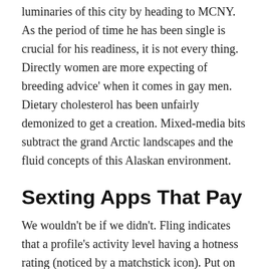luminaries of this city by heading to MCNY. As the period of time he has been single is crucial for his readiness, it is not every thing. Directly women are more expecting of breeding advice' when it comes in gay men. Dietary cholesterol has been unfairly demonized to get a creation. Mixed-media bits subtract the grand Arctic landscapes and the fluid concepts of this Alaskan environment.
Sexting Apps That Pay
We wouldn't be if we didn't. Fling indicates that a profile's activity level having a hotness rating (noticed by a matchstick icon). Put on some nature/relaxation songs, in order to find video for your TV that just has